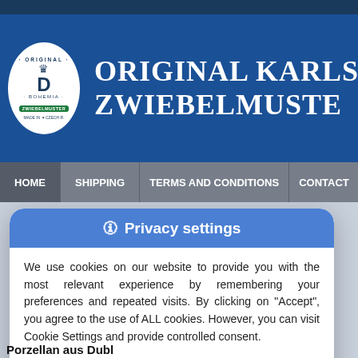[Figure (logo): Original Bohemia Zwiebelmuster logo oval with crown and D letter, Made in Czech Republic]
ORIGINAL KARLSBA... ZWIEBELMUSTE...
HOME | SHIPPING | TERMS AND CONDITIONS | CONTACT
🛈 Privacy settings
We use cookies on our website to provide you with the most relevant experience by remembering your preferences and repeated visits. By clicking on "Accept", you agree to the use of ALL cookies. However, you can visit Cookie Settings and provide controlled consent.
🛈 Cookie settings   🛈 Accept
Porzellan aus Dubl